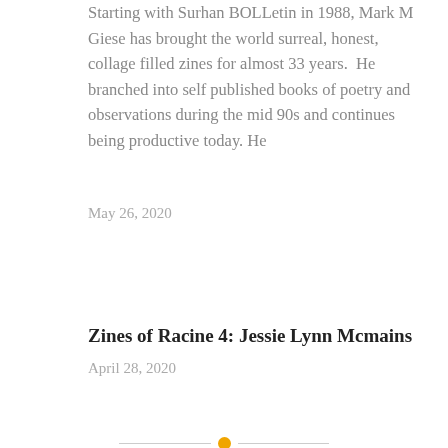Starting with Surhan BOLLetin in 1988, Mark M Giese has brought the world surreal, honest, collage filled zines for almost 33 years.  He branched into self published books of poetry and observations during the mid 90s and continues being productive today. He
May 26, 2020
Zines of Racine 4: Jessie Lynn Mcmains
April 28, 2020
PREVIOUS POST
The Rochambo Coffee Shop and other things explored over the weekend
NEXT POST